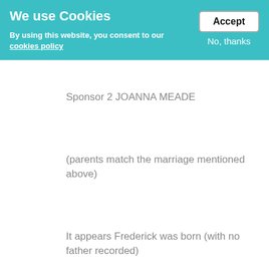We use Cookies
By using this website, you consent to our cookies policy
Accept
No, thanks
Sponsor 2 JOANNA MEADE
(parents match the marriage mentioned above)
It appears Frederick was born (with no father recorded)